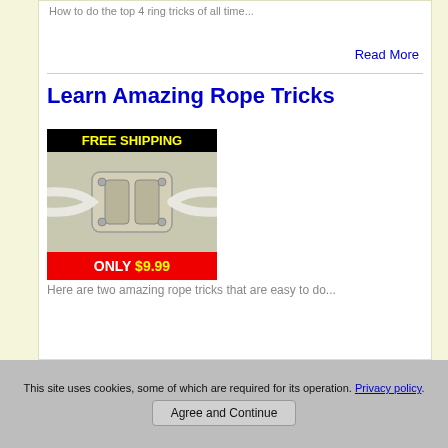How to do the top 4 ring tricks of all time...
Read More
Learn Amazing Rope Tricks
[Figure (photo): Product image: rope trick device with 'FREE SHIPPING' banner on black background at top and 'ONLY $9.99' red bar at bottom. The main image shows a beige/tan mechanical device with rope threaded through it.]
Here are two amazing rope tricks that are easy to do...
This site uses cookies, some of which are required for its operation. Privacy policy.
Agree and Continue